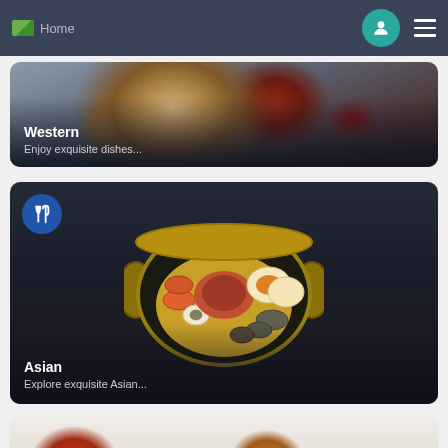Home
[Figure (screenshot): Western food category card showing pasta dish with text 'Western - Enjoy exquisite dishes...']
[Figure (screenshot): Asian food category card showing a large pot/wok with Korean hot pot ingredients including eggs, meat, vegetables, with cutlery badge icon and text 'Asian - Explore exquisite Asian...']
[Figure (screenshot): Partially visible third food category card at bottom of screen]